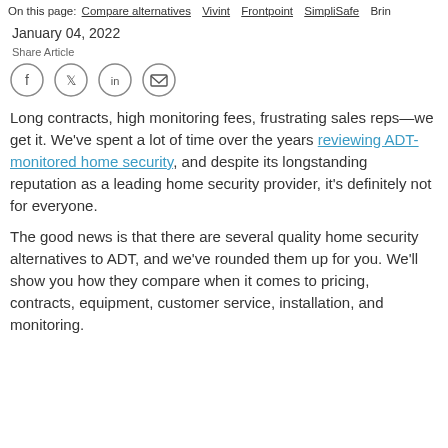On this page: Compare alternatives Vivint Frontpoint SimpliSafe Brin
January 04, 2022
Share Article
[Figure (infographic): Social share icons: Facebook, Twitter, LinkedIn, Email]
Long contracts, high monitoring fees, frustrating sales reps—we get it. We've spent a lot of time over the years reviewing ADT-monitored home security, and despite its longstanding reputation as a leading home security provider, it's definitely not for everyone.
The good news is that there are several quality home security alternatives to ADT, and we've rounded them up for you. We'll show you how they compare when it comes to pricing, contracts, equipment, customer service, installation, and monitoring.